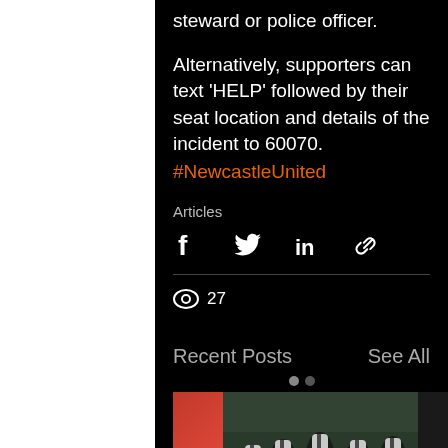steward or police officer.
Alternatively, supporters can text 'HELP' followed by their seat location and details of the incident to 60070.
#NewcastleUnited
Articles
[Figure (infographic): Social share icons: Facebook, Twitter, LinkedIn, Link/copy]
27
Recent Posts
See All
[Figure (photo): Newcastle United players celebrating, wearing black and white striped kit]